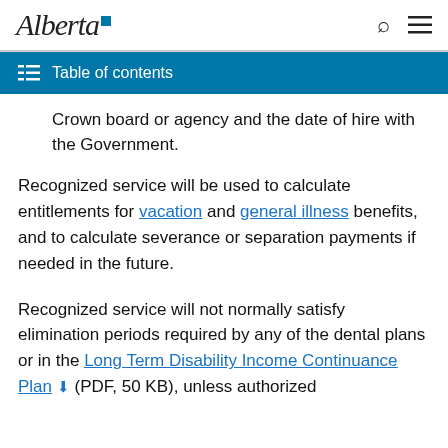Alberta [logo]
Table of contents
Crown board or agency and the date of hire with the Government.
Recognized service will be used to calculate entitlements for vacation and general illness benefits, and to calculate severance or separation payments if needed in the future.
Recognized service will not normally satisfy elimination periods required by any of the dental plans or in the Long Term Disability Income Continuance Plan (PDF, 50 KB), unless authorized